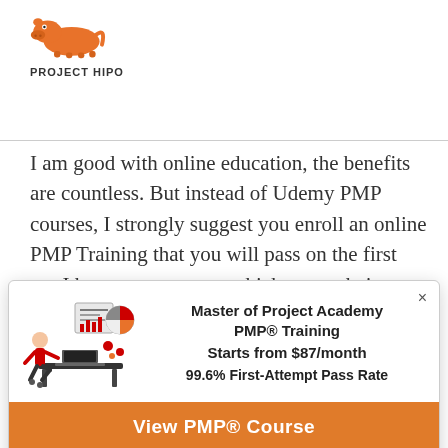[Figure (logo): Project Hipo logo with orange hippo illustration above bold text 'PROJECT HIPO']
I am good with online education, the benefits are countless. But instead of Udemy PMP courses, I strongly suggest you enroll an online PMP Training that you will pass on the first try. I have seen courses which prove their success by sharing their exam pass rates. Select the best one and stay safe on your PMP journey.
[Figure (infographic): Advertisement modal for Master of Project Academy PMP Training with illustration of person at desk with charts, text content: 'Master of Project Academy PMP® Training, Starts from $87/month, 99.6% First-Attempt Pass Rate', orange 'View PMP® Course' button, '*Sponsored Ad' footer]